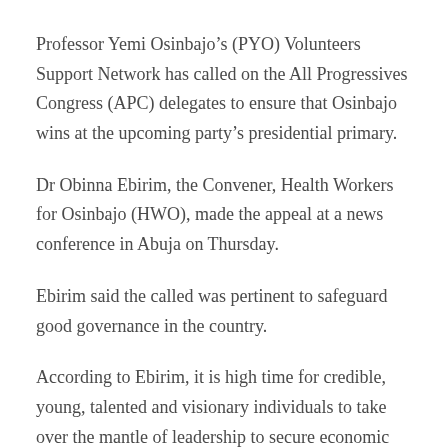Professor Yemi Osinbajo’s (PYO) Volunteers Support Network has called on the All Progressives Congress (APC) delegates to ensure that Osinbajo wins at the upcoming party’s presidential primary.
Dr Obinna Ebirim, the Convener, Health Workers for Osinbajo (HWO), made the appeal at a news conference in Abuja on Thursday.
Ebirim said the called was pertinent to safeguard good governance in the country.
According to Ebirim, it is high time for credible, young, talented and visionary individuals to take over the mantle of leadership to secure economic and democratic development of Nigeria.
The convener said the 2023 elections were not all about